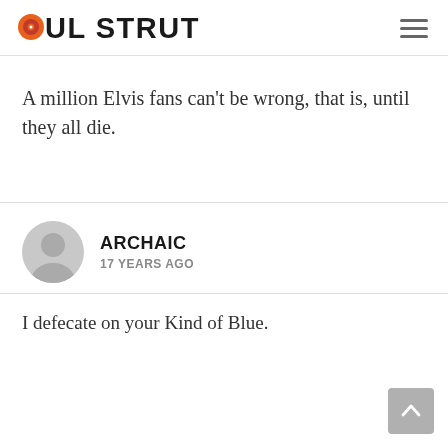SOUL STRUT
A million Elvis fans can't be wrong, that is, until they all die.
ARCHAIC
17 YEARS AGO
I defecate on your Kind of Blue.